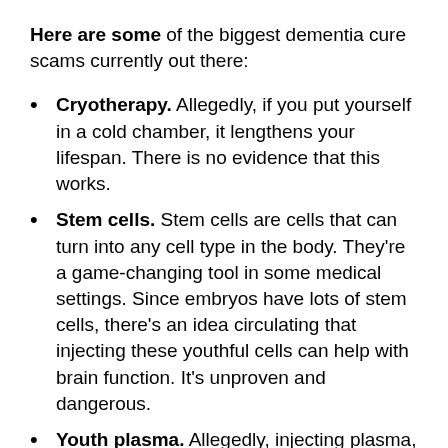Here are some of the biggest dementia cure scams currently out there:
Cryotherapy. Allegedly, if you put yourself in a cold chamber, it lengthens your lifespan. There is no evidence that this works.
Stem cells. Stem cells are cells that can turn into any cell type in the body. They're a game-changing tool in some medical settings. Since embryos have lots of stem cells, there's an idea circulating that injecting these youthful cells can help with brain function. It's unproven and dangerous.
Youth plasma. Allegedly, injecting plasma, a component of blood, from a young person can somehow reverse dementia. This might make some intuitive sense, but there is no proof that it works. It can put you at risk of unnecessary infection. Be careful what